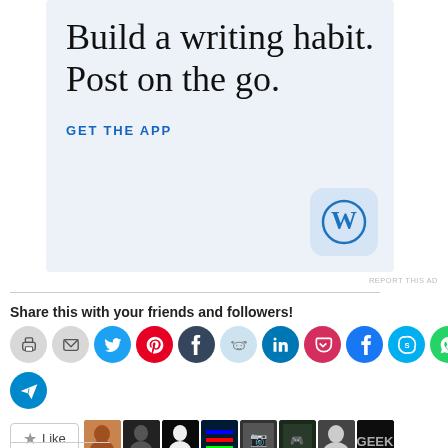[Figure (screenshot): WordPress app advertisement with text 'Build a writing habit. Post on the go.' and a 'GET THE APP' link, with WordPress logo icon.]
REPORT THIS AD
Share this with your friends and followers!
[Figure (infographic): Row of social sharing icon buttons: print, email, Twitter, Pinterest, Tumblr, Reddit, LinkedIn, Pocket, Facebook, Skype, WhatsApp, and a second row with Telegram.]
[Figure (infographic): Like button with star icon and 8 blogger avatar thumbnails]
8 bloggers like this.